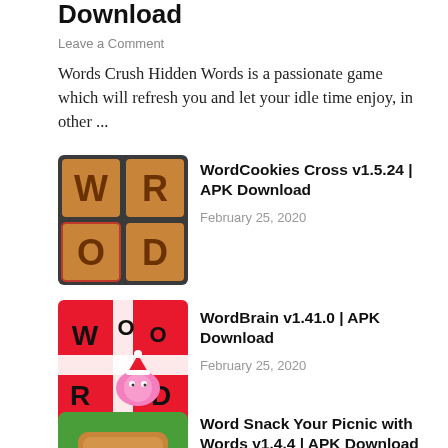Download
Leave a Comment
Words Crush Hidden Words is a passionate game which will refresh you and let your idle time enjoy, in other ...
[Figure (screenshot): WordCookies Cross app icon showing cookie-letter tiles on a dark baking-sheet background with letters W, O, R, D, 2]
WordCookies Cross v1.5.24 | APK Download
February 25, 2020
[Figure (screenshot): WordBrain app icon with red background, letters W, O, O, R, D and a cartoon pink brain character]
WordBrain v1.41.0 | APK Download
February 25, 2020
[Figure (screenshot): Word Snack app icon with a wooden W tile on green background with fruits]
Word Snack Your Picnic with Words v1.4.4 | APK Download
February 25, 2020